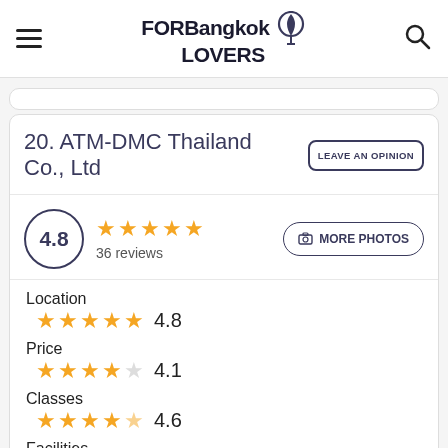FORBangkok LOVERS
20. ATM-DMC Thailand Co., Ltd
4.8 · 36 reviews
Location 4.8
Price 4.1
Classes 4.6
Facilities 4